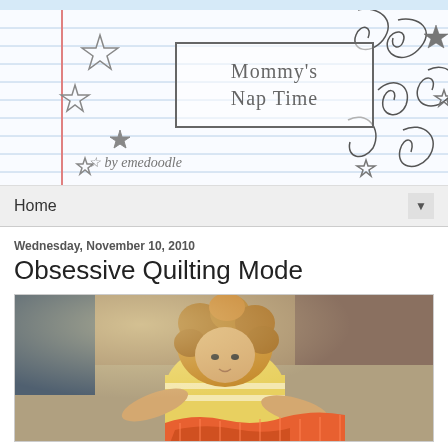[Figure (illustration): Blog header banner with notebook paper background, decorative doodle swirls, stars, and a bordered text box reading Mommy's Nap Time by emedoodle]
Home
Wednesday, November 10, 2010
Obsessive Quilting Mode
[Figure (photo): Photo of a toddler with curly hair wearing a yellow striped shirt, playing with orange quilting fabric on the floor]